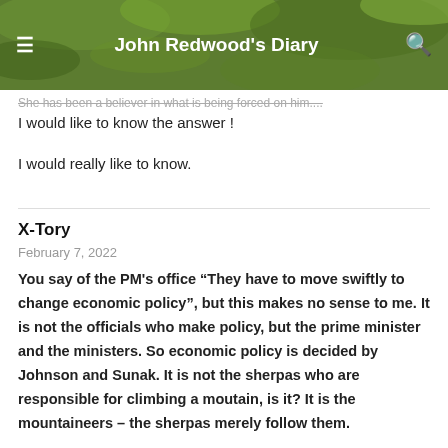John Redwood's Diary
She has been a believer in what is being forced on him...
I would like to know the answer !
I would really like to know.
X-Tory
February 7, 2022
You say of the PM’s office “They have to move swiftly to change economic policy”, but this makes no sense to me. It is not the officials who make policy, but the prime minister and the ministers. So economic policy is decided by Johnson and Sunak. It is not the sherpas who are responsible for climbing a moutain, is it? It is the mountaineers – the sherpas merely follow them.